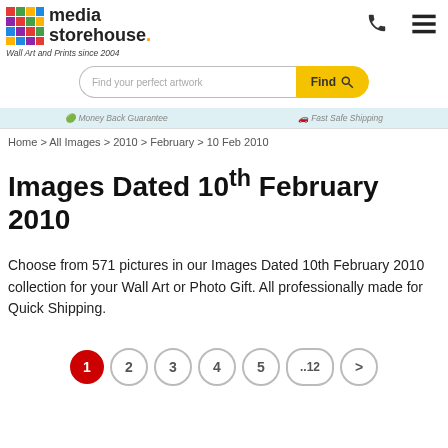media storehouse. Wall Art and Prints since 2004
Find your perfect artwork | Find
Money Back Guarantee | Fast Safe Shipping
Home > All Images > 2010 > February > 10 Feb 2010
Images Dated 10th February 2010
Choose from 571 pictures in our Images Dated 10th February 2010 collection for your Wall Art or Photo Gift. All professionally made for Quick Shipping.
1 2 3 4 5 ..12 >